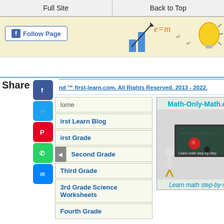Full Site | Back to Top
[Figure (illustration): Facebook Follow Page button with decorative math/education banner background]
nd ™ first-learn.com. All Rights Reserved. 2013 - 2022.
Share
Home
irst Learn Blog
irst Grade
Second Grade
Third Grade
3rd Grade Science Worksheets
Fourth Grade
[Figure (screenshot): Math-Only-Math.com promotional image showing two figures at a chalkboard. Caption: Learn math step-by-step.]